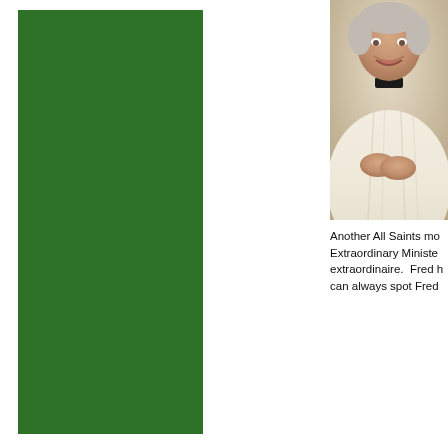[Figure (other): Solid dark green rectangular block on the left side of the page]
[Figure (photo): Photo of a smiling older man wearing white liturgical vestments (alb), with a black clerical collar visible, hands clasped, photographed in a church setting]
Another All Saints mo Extraordinary Ministe extraordinaire. Fred h can always spot Fred